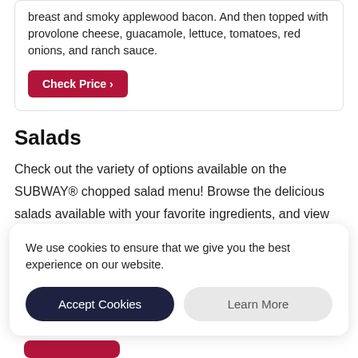breast and smoky applewood bacon. And then topped with provolone cheese, guacamole, lettuce, tomatoes, red onions, and ranch sauce.
Check Price >
Salads
Check out the variety of options available on the SUBWAY® chopped salad menu! Browse the delicious salads available with your favorite ingredients, and view nutrition information to help you make smart choices.
We use cookies to ensure that we give you the best experience on our website.
Accept Cookies
Learn More